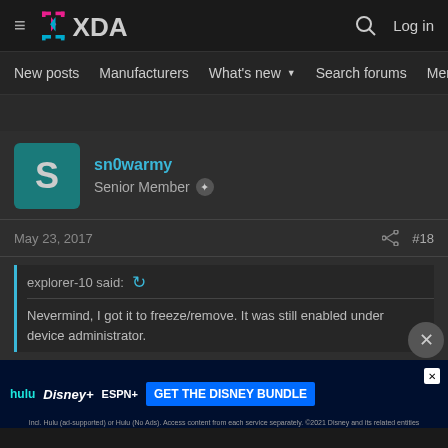XDA Developers — Log in
New posts  Manufacturers  What's new  Search forums  Members
sn0warmy
Senior Member
May 23, 2017  #18
explorer-10 said:
Nevermind, I got it to freeze/remove. It was still enabled under device administrator.
Weird, Lo... my phone. I can't remember if I disabled within Device Administrator prior to disabling